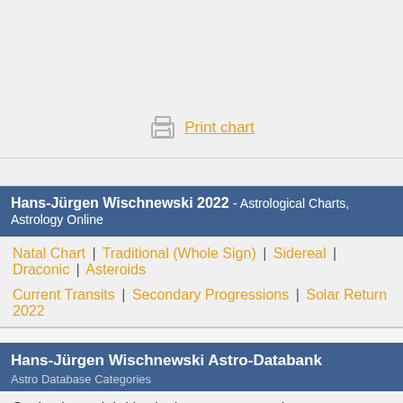[Figure (other): Gray area placeholder for astrological chart image]
Print chart
Hans-Jürgen Wischnewski 2022 - Astrological Charts, Astrology Online
Natal Chart | Traditional (Whole Sign) | Sidereal | Draconic | Asteroids
Current Transits | Secondary Progressions | Solar Return 2022
Hans-Jürgen Wischnewski Astro-Databank
Astro Database Categories
Seek other celebrities in the same categories: